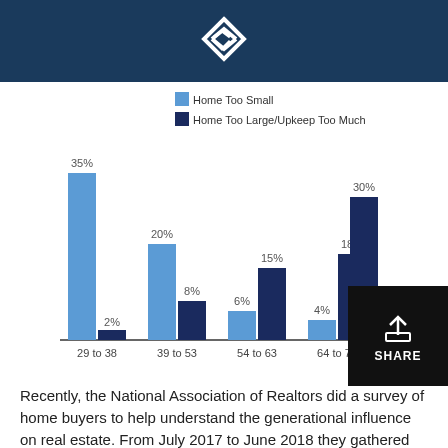[Figure (logo): White diamond/arrow logo on dark blue background header bar]
[Figure (grouped-bar-chart): Top Reasons for Purchasing by Age]
Recently, the National Association of Realtors did a survey of home buyers to help understand the generational influence on real estate. From July 2017 to June 2018 they gathered data which outlined the top